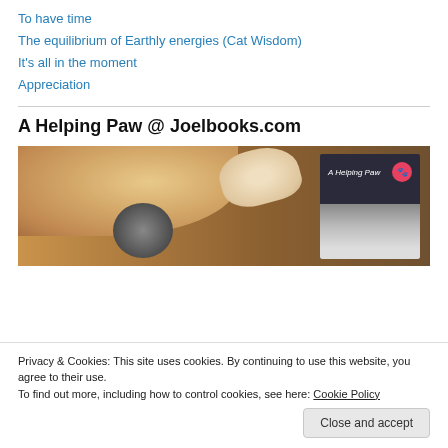To have time
The equilibrium of Earthly energies (Cat Wisdom)
It's all in the moment
Appreciation
A Helping Paw @ Joelbooks.com
[Figure (photo): Overhead photo of a cat lying on a wooden surface next to a bowl of cherries and a book titled 'A Helping Paw' with a pink paw print icon on the cover]
Privacy & Cookies: This site uses cookies. By continuing to use this website, you agree to their use.
To find out more, including how to control cookies, see here: Cookie Policy
Close and accept